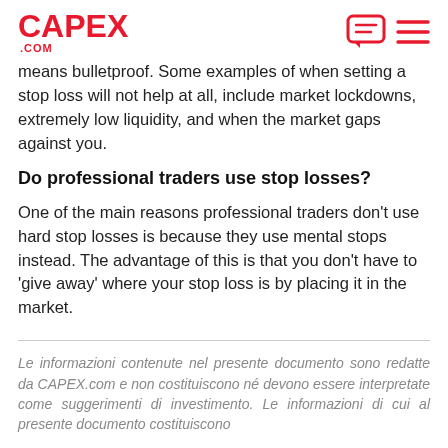CAPEX .COM
means bulletproof. Some examples of when setting a stop loss will not help at all, include market lockdowns, extremely low liquidity, and when the market gaps against you.
Do professional traders use stop losses?
One of the main reasons professional traders don't use hard stop losses is because they use mental stops instead. The advantage of this is that you don't have to 'give away' where your stop loss is by placing it in the market.
Le informazioni contenute nel presente documento sono redatte da CAPEX.com e non costituiscono né devono essere interpretate come suggerimenti di investimento. Le informazioni di cui al presente documento costituiscono